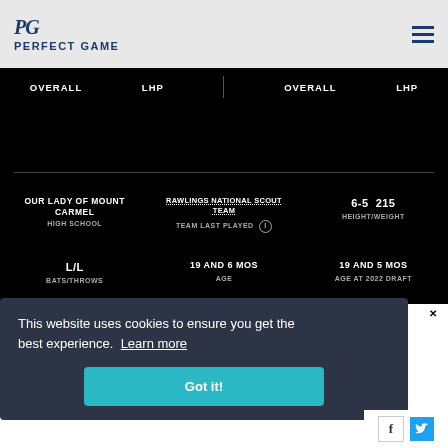PERFECT GAME
| OVERALL | LHP | OVERALL | LHP |
| --- | --- | --- | --- |
OUR LADY OF MOUNT CARMEL HIGH SCHOOL
RAWLINGS NATIONAL SCOUT TEAM
TEAM LAST PLAYED
6-5  215
HEIGHT/WEIGHT
L/L
BATS/THROWS
19 AND 6 MOS
AGE
19 AND 5 MOS
AGE AT 2022 DRAFT
This website uses cookies to ensure you get the best experience. Learn more
Got it!